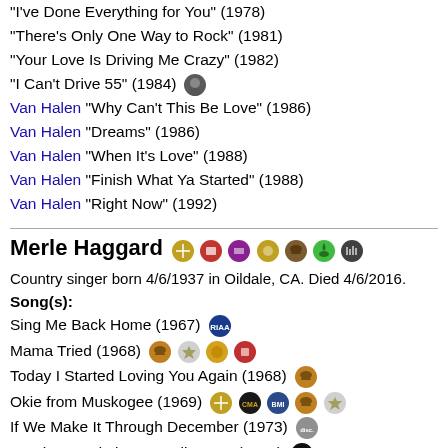"I've Done Everything for You" (1978)
"There's Only One Way to Rock" (1981)
"Your Love Is Driving Me Crazy" (1982)
"I Can't Drive 55" (1984)
Van Halen "Why Can't This Be Love" (1986)
Van Halen "Dreams" (1986)
Van Halen "When It's Love" (1988)
Van Halen "Finish What Ya Started" (1988)
Van Halen "Right Now" (1992)
Merle Haggard
Country singer born 4/6/1937 in Oildale, CA. Died 4/6/2016.
Song(s):
Sing Me Back Home (1967)
Mama Tried (1968)
Today I Started Loving You Again (1968)
Okie from Muskogee (1969)
If We Make It Through December (1973)
Are the Good Times Really Over (1982)
Pancho and Lefty (1982) ... Willie Nelson